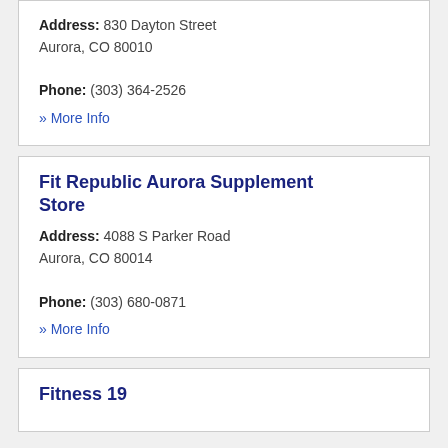Address: 830 Dayton Street Aurora, CO 80010
Phone: (303) 364-2526
» More Info
Fit Republic Aurora Supplement Store
Address: 4088 S Parker Road Aurora, CO 80014
Phone: (303) 680-0871
» More Info
Fitness 19